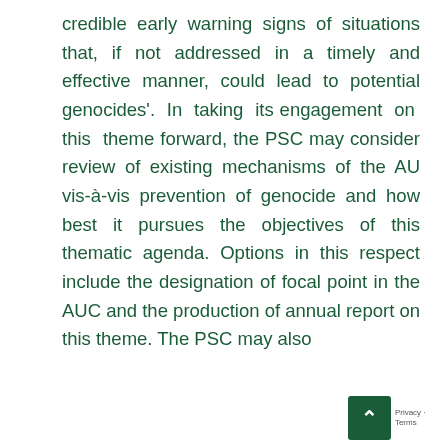credible early warning signs of situations that, if not addressed in a timely and effective manner, could lead to potential genocides'. In taking its engagement on this theme forward, the PSC may consider review of existing mechanisms of the AU vis-à-vis prevention of genocide and how best it pursues the objectives of this thematic agenda. Options in this respect include the designation of focal point in the AUC and the production of annual report on this theme. The PSC may also